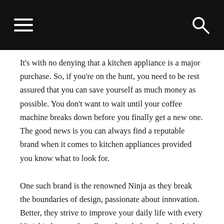navigation header with hamburger menu and search icon
It's with no denying that a kitchen appliance is a major purchase. So, if you're on the hunt, you need to be rest assured that you can save yourself as much money as possible. You don't want to wait until your coffee machine breaks down before you finally get a new one. The good news is you can always find a reputable brand when it comes to kitchen appliances provided you know what to look for.
One such brand is the renowned Ninja as they break the boundaries of design, passionate about innovation. Better, they strive to improve your daily life with every Ninjakitchen product. Even though they develop high quality products, you do not have to spend more than planned just because you want to buy a food preparation cleaver, mixer, food